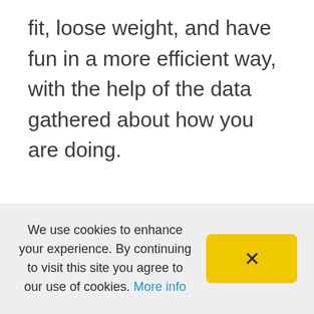fit, loose weight, and have fun in a more efficient way, with the help of the data gathered about how you are doing.
We use cookies to enhance your experience. By continuing to visit this site you agree to our use of cookies. More info